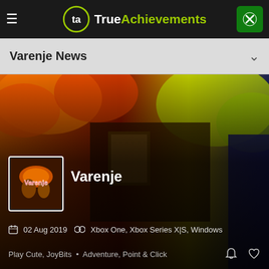TrueAchievements
Varenje News
[Figure (screenshot): Varenje game card showing colorful illustrated game art with mushrooms and a dark interior scene. Game icon shows Varenje logo. Metadata: 02 Aug 2019, Xbox One, Xbox Series X|S, Windows. Publisher: Play Cute, JoyBits. Genre: Adventure, Point & Click.]
Varenje
02 Aug 2019   Xbox One, Xbox Series X|S, Windows
Play Cute, JoyBits • Adventure, Point & Click